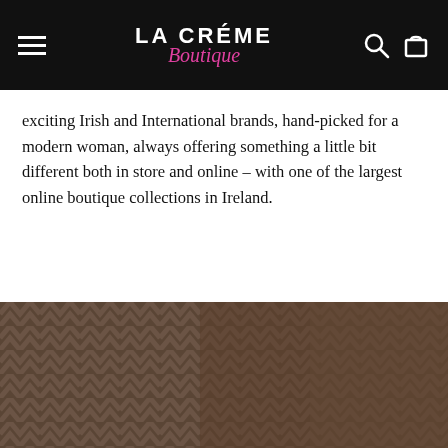LA CRÉME Boutique — navigation bar with hamburger menu, logo, search and cart icons
exciting Irish and International brands, hand-picked for a modern woman, always offering something a little bit different both in store and online – with one of the largest online boutique collections in Ireland.
[Figure (photo): Background photograph showing a person wearing a dark chevron-patterned jacket, overlaid on a dark brown chevron textile background. The right portion shows the person's torso and hand.]